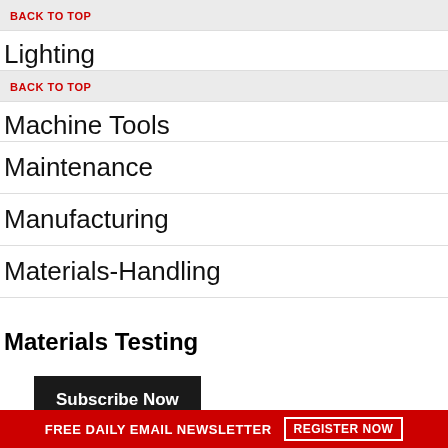BACK TO TOP
Lighting
BACK TO TOP
Machine Tools
Maintenance
Manufacturing
Materials-Handling
Materials Testing
FREE DAILY EMAIL NEWSLETTER  REGISTER NOW